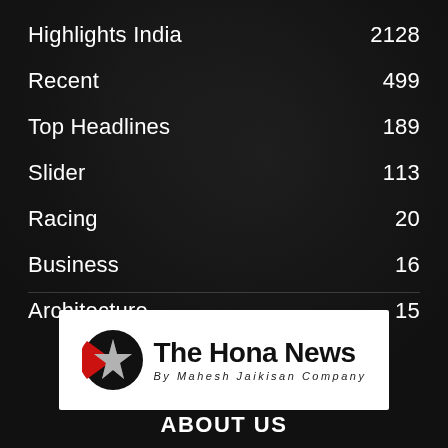Highlights India  2128
Recent  499
Top Headlines  189
Slider  113
Racing  20
Business  16
Architecture  15
[Figure (logo): The Hona News logo — circular black/red/white star badge on left, bold text 'The Hona News' with subtitle 'By Mahesh Jaikisan Company' on white background]
ABOUT US